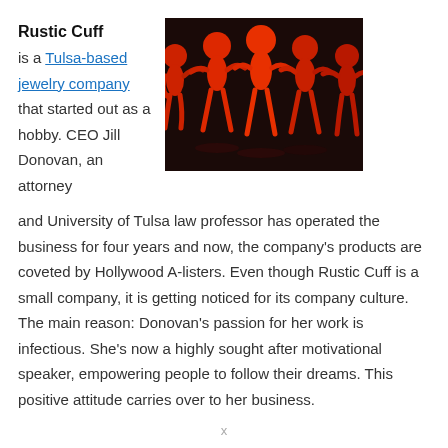Rustic Cuff
is a Tulsa-based jewelry company that started out as a hobby. CEO Jill Donovan, an attorney
[Figure (photo): Photo of red paper chain people figures holding hands on a dark background, five figures visible]
and University of Tulsa law professor has operated the business for four years and now, the company's products are coveted by Hollywood A-listers. Even though Rustic Cuff is a small company, it is getting noticed for its company culture. The main reason: Donovan's passion for her work is infectious. She’s now a highly sought after motivational speaker, empowering people to follow their dreams. This positive attitude carries over to her business.
x